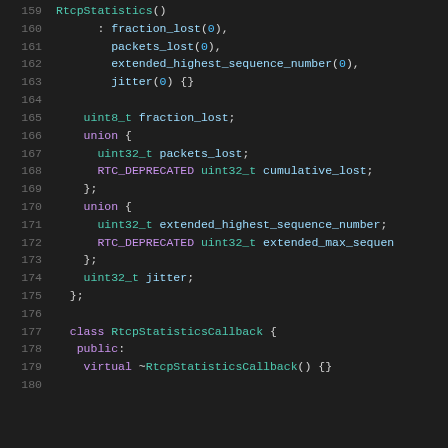[Figure (screenshot): C++ source code snippet showing RtcpStatistics struct and RtcpStatisticsCallback class definition, lines 159-180, with syntax highlighting on dark background.]